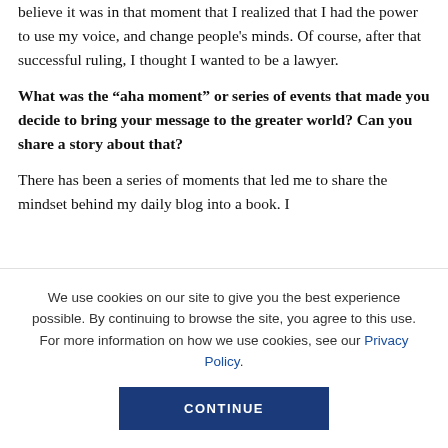believe it was in that moment that I realized that I had the power to use my voice, and change people's minds. Of course, after that successful ruling, I thought I wanted to be a lawyer.
What was the “aha moment” or series of events that made you decide to bring your message to the greater world? Can you share a story about that?
There has been a series of moments that led me to share the mindset behind my daily blog into a book. I
We use cookies on our site to give you the best experience possible. By continuing to browse the site, you agree to this use. For more information on how we use cookies, see our Privacy Policy.
CONTINUE